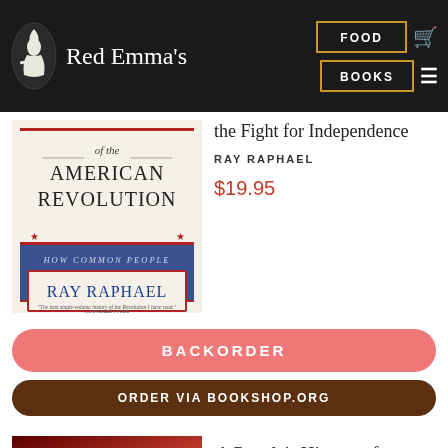Red Emma's | FOOD | BOOKS
[Figure (illustration): Book cover: A People's History of the American Revolution — How Common People Shaped the Fight for Independence by Ray Raphael. Quote: 'The best single-volume history of the Revolution I have read.' —Howard Zinn]
the Fight for Independence
RAY RAPHAEL
$19.95
BACKORDER
ORDER VIA BOOKSHOP.ORG
A People's History of